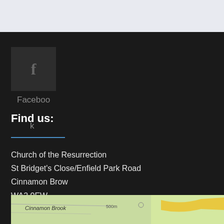[Figure (screenshot): Facebook icon button - dark square with white 'f' letter]
Faceboo k
Find us:
Church of the Resurrection
St Bridget's Close/Enfield Park Road
Cinnamon Brow
WA2 0EW
[Figure (map): Map excerpt showing Cinnamon Brook area street map]